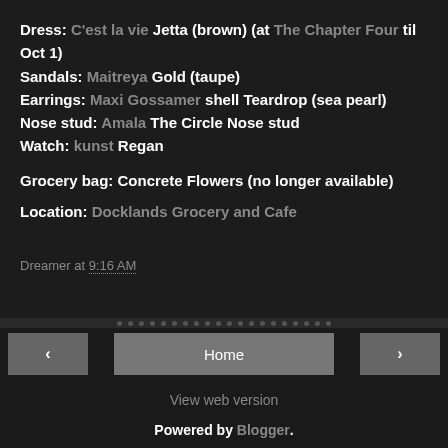Dress: C'est la vie Jetta (brown) (at The Chapter Four til Oct 1)
Sandals: Maitreya Gold (taupe)
Earrings: Maxi Gossamer shell Teardrop (sea pearl)
Nose stud: Amala The Circle Nose stud
Watch: kunst Regan
Grocery bag: Concrete Flowers (no longer available)
Location: Docklands Grocery and Cafe
Dreamer at 9:16 AM
Home | View web version | Powered by Blogger.